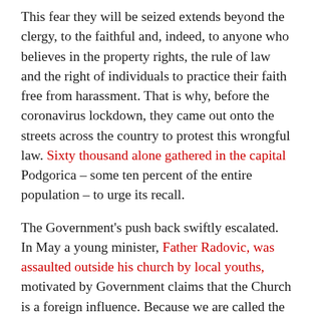This fear they will be seized extends beyond the clergy, to the faithful and, indeed, to anyone who believes in the property rights, the rule of law and the right of individuals to practice their faith free from harassment. That is why, before the coronavirus lockdown, they came out onto the streets across the country to protest this wrongful law. Sixty thousand alone gathered in the capital Podgorica – some ten percent of the entire population – to urge its recall.
The Government's push back swiftly escalated. In May a young minister, Father Radovic, was assaulted outside his church by local youths, motivated by Government claims that the Church is a foreign influence. Because we are called the